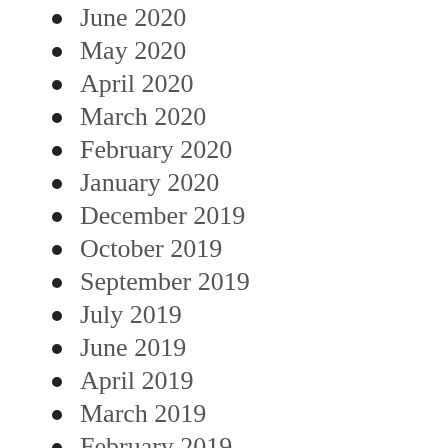June 2020
May 2020
April 2020
March 2020
February 2020
January 2020
December 2019
October 2019
September 2019
July 2019
June 2019
April 2019
March 2019
February 2019
January 2019
November 2018
October 2...